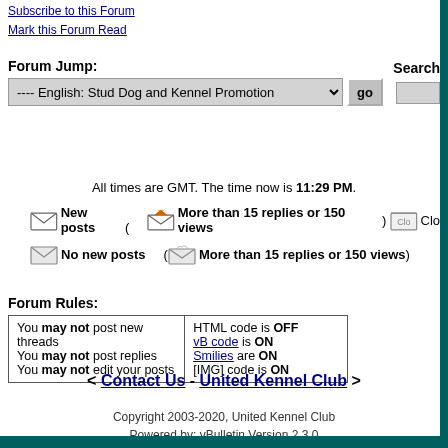Subscribe to this Forum
Mark this Forum Read
Forum Jump:
---- English: Stud Dog and Kennel Promotion
Search
All times are GMT. The time now is 11:29 PM.
New posts ( More than 15 replies or 150 views ) Clo...
No new posts ( More than 15 replies or 150 views )
Forum Rules:
| You may not post new threads
You may not post replies
You may not edit your posts | HTML code is OFF
vB code is ON
Smilies are ON
[IMG] code is ON |
< Contact Us - United Kennel Club >
Copyright 2003-2020, United Kennel Club
Powered by: vBulletin Version 2.3.0
(vBulletin courtesy Jelsoft Enterprises Limited.)